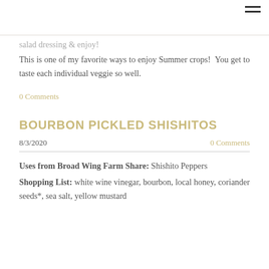salad dressing & enjoy!
This is one of my favorite ways to enjoy Summer crops!  You get to taste each individual veggie so well.
0 Comments
BOURBON PICKLED SHISHITOS
8/3/2020
0 Comments
Uses from Broad Wing Farm Share: Shishito Peppers
Shopping List: white wine vinegar, bourbon, local honey, coriander seeds*, sea salt, yellow mustard